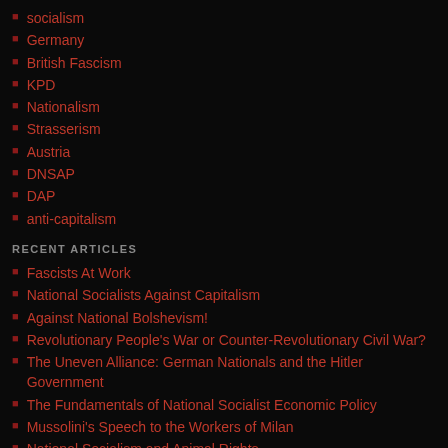socialism
Germany
British Fascism
KPD
Nationalism
Strasserism
Austria
DNSAP
DAP
anti-capitalism
RECENT ARTICLES
Fascists At Work
National Socialists Against Capitalism
Against National Bolshevism!
Revolutionary People's War or Counter-Revolutionary Civil War?
The Uneven Alliance: German Nationals and the Hitler Government
The Fundamentals of National Socialist Economic Policy
Mussolini's Speech to the Workers of Milan
National Socialism and Animal Rights
Hitler's Betrayal – Are We Still a Workers' Party?
Woman in the National Socialist State